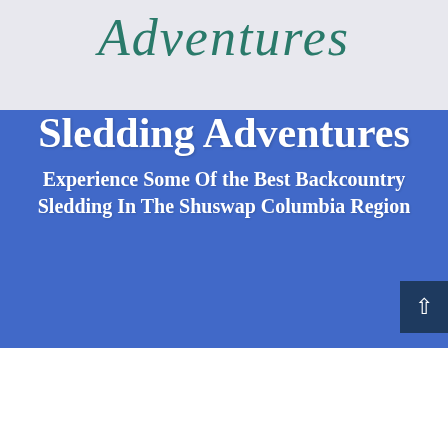[Figure (screenshot): Partial script/cursive logo text 'Adventures' in teal/green on a light gray header background]
Sledding Adventures
Experience Some Of the Best Backcountry Sledding In The Shuswap Columbia Region